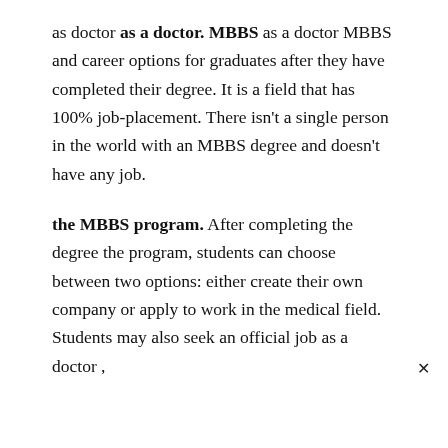as doctor as a doctor. MBBS as a doctor MBBS and career options for graduates after they have completed their degree. It is a field that has 100% job-placement. There isn't a single person in the world with an MBBS degree and doesn't have any job.
the MBBS program. After completing the degree the program, students can choose between two options: either create their own company or apply to work in the medical field. Students may also seek an official job as a doctor ,